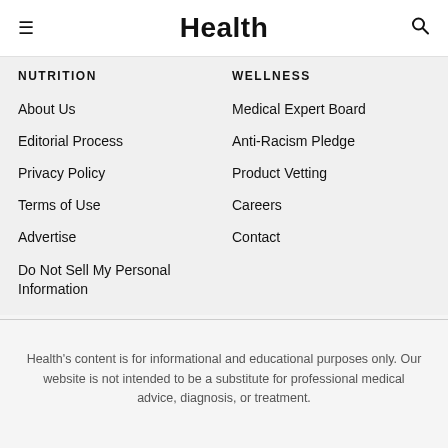Health
NUTRITION
WELLNESS
About Us
Medical Expert Board
Editorial Process
Anti-Racism Pledge
Privacy Policy
Product Vetting
Terms of Use
Careers
Advertise
Contact
Do Not Sell My Personal Information
Health's content is for informational and educational purposes only. Our website is not intended to be a substitute for professional medical advice, diagnosis, or treatment.